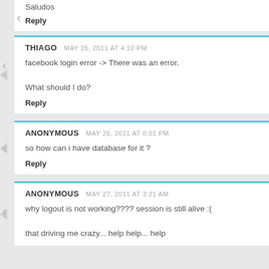Saludos
Reply
THIAGO  MAY 26, 2011 AT 4:10 PM
facebook login error -> There was an error.

What should I do?
Reply
ANONYMOUS  MAY 26, 2011 AT 8:01 PM
so how can i have database for it ?
Reply
ANONYMOUS  MAY 27, 2011 AT 3:21 AM
why logout is not working???? session is still alive :(

that driving me crazy... help help... help